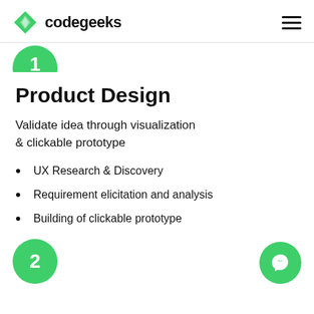codegeeks
[Figure (illustration): Green half-circle with number 1, representing step 1]
Product Design
Validate idea through visualization & clickable prototype
UX Research & Discovery
Requirement elicitation and analysis
Building of clickable prototype
[Figure (illustration): Green circle with number 2, representing step 2]
[Figure (illustration): Green messenger/chat button circle icon at bottom right]